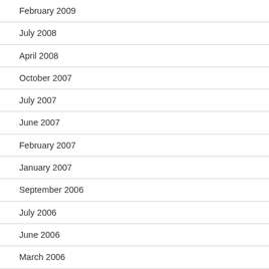February 2009
July 2008
April 2008
October 2007
July 2007
June 2007
February 2007
January 2007
September 2006
July 2006
June 2006
March 2006